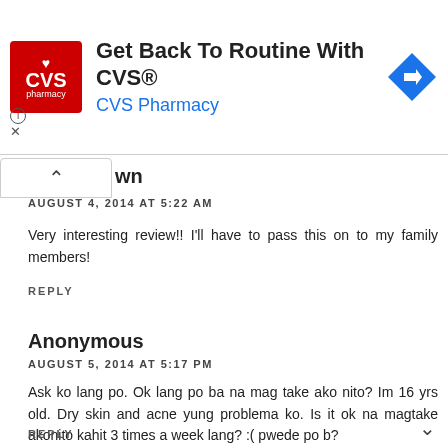[Figure (other): CVS Pharmacy advertisement banner with red CVS logo, text 'Get Back To Routine With CVS®' and 'CVS Pharmacy' in blue, and a blue diamond navigation arrow icon on the right]
wn
AUGUST 4, 2014 AT 5:22 AM
Very interesting review!! I'll have to pass this on to my family members!
REPLY
Anonymous
AUGUST 5, 2014 AT 5:17 PM
Ask ko lang po. Ok lang po ba na mag take ako nito? Im 16 yrs old. Dry skin and acne yung problema ko. Is it ok na magtake akonito kahit 3 times a week lang? :( pwede po b?
REPLY